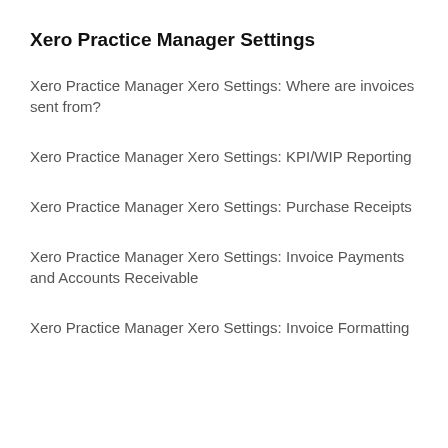Xero Practice Manager Settings
Xero Practice Manager Xero Settings: Where are invoices sent from?
Xero Practice Manager Xero Settings: KPI/WIP Reporting
Xero Practice Manager Xero Settings: Purchase Receipts
Xero Practice Manager Xero Settings: Invoice Payments and Accounts Receivable
Xero Practice Manager Xero Settings: Invoice Formatting